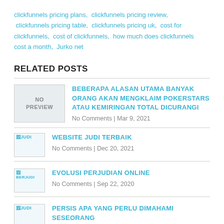clickfunnels pricing plans,  clickfunnels pricing review,  clickfunnels pricing table,  clickfunnels pricing uk,  cost for clickfunnels,  cost of clickfunnels,  how much does clickfunnels cost a month,  Jurko net
RELATED POSTS
[Figure (other): No preview thumbnail placeholder for related post]
BEBERAPA ALASAN UTAMA BANYAK ORANG AKAN MENGKLAIM POKERSTARS ATAU KEMIRINGAN TOTAL DICURANGI
No Comments | Mar 9, 2021
[Figure (photo): Small thumbnail image labeled JUDI]
WEBSITE JUDI TERBAIK
No Comments | Dec 20, 2021
[Figure (photo): Small thumbnail image labeled BERJUDI]
EVOLUSI PERJUDIAN ONLINE
No Comments | Sep 22, 2020
[Figure (photo): Small thumbnail image labeled JUDI]
PERSIS APA YANG PERLU DIMAHAMI SESEORANG